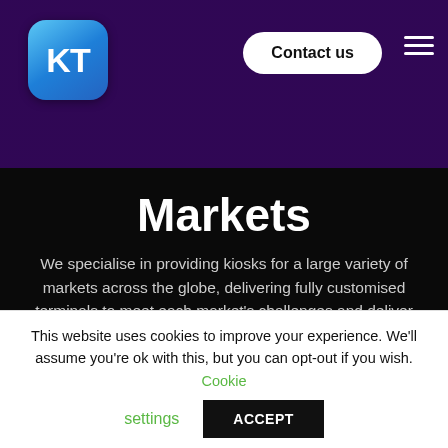[Figure (logo): KT logo — blue rounded square with white KT letters, navigation bar with Contact us button and hamburger menu on dark purple background]
Markets
We specialise in providing kiosks for a large variety of markets across the globe, delivering fully customised terminals to meet each market's challenges and deliver great results. All images are of past and present KT kiosks.
This website uses cookies to improve your experience. We'll assume you're ok with this, but you can opt-out if you wish. Cookie settings ACCEPT